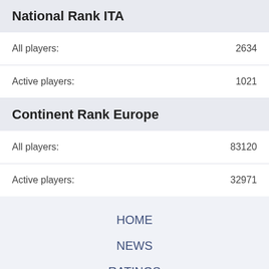National Rank ITA
All players: 2634
Active players: 1021
Continent Rank Europe
All players: 83120
Active players: 32971
HOME
NEWS
RATINGS
CALENDAR